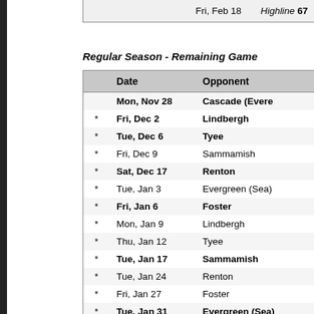|  | Date | Opponent |
| --- | --- | --- |
|  | Fri, Feb 18 | Highline 67 |
Regular Season - Remaining Game
|  | Date | Opponent |
| --- | --- | --- |
|  | Mon, Nov 28 | Cascade (Evere |
| * | Fri, Dec 2 | Lindbergh |
| * | Tue, Dec 6 | Tyee |
| * | Fri, Dec 9 | Sammamish |
| * | Sat, Dec 17 | Renton |
| * | Tue, Jan 3 | Evergreen (Sea) |
| * | Fri, Jan 6 | Foster |
| * | Mon, Jan 9 | Lindbergh |
| * | Thu, Jan 12 | Tyee |
| * | Tue, Jan 17 | Sammamish |
| * | Tue, Jan 24 | Renton |
| * | Fri, Jan 27 | Foster |
| * | Tue, Jan 31 | Evergreen (Sea) |